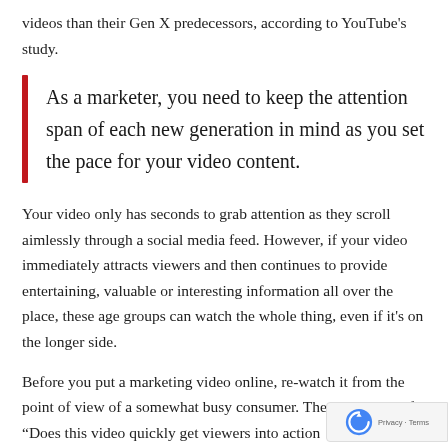videos than their Gen X predecessors, according to YouTube's study.
As a marketer, you need to keep the attention span of each new generation in mind as you set the pace for your video content.
Your video only has seconds to grab attention as they scroll aimlessly through a social media feed. However, if your video immediately attracts viewers and then continues to provide entertaining, valuable or interesting information all over the place, these age groups can watch the whole thing, even if it's on the longer side.
Before you put a marketing video online, re-watch it from the point of view of a somewhat busy consumer. Then ask yourself, “Does this video quickly get viewers into action and hold their attention?” If so, be assured that t…